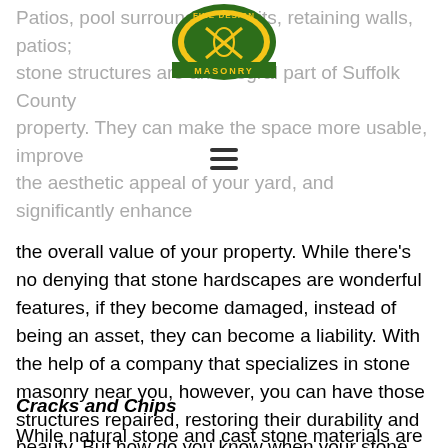[Figure (logo): Fine Design Masonry circular logo with green and gold lettering and leaf/wheat design]
Patios, pool surrounds, fire pits, retaining walls, patios; stone structures are an integral part of Suffolk County property. They can make the space more usable, improve the aesthetic appeal of your yard, and significantly enhance the overall value of your property. While there's no denying that stone hardscapes are wonderful features, if they become damaged, instead of being an asset, they can become a liability. With the help of a company that specializes in stone masonry near you, however, you can have those structures repaired, restoring their durability and beauty. But how do you know when your stone hardscapes need to be repaired? Here's a look at some of the telltale signs that you should get in touch with a Westhampton, NY masonry professional to repair the stone features on your Suffolk County property.
Cracks and Chips
While natural stone and cast stone materials are very